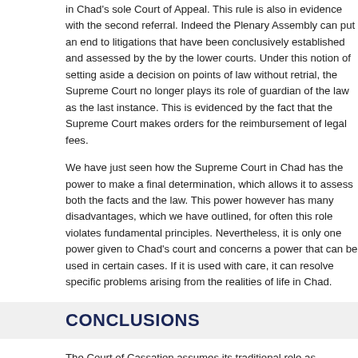in Chad's sole Court of Appeal. This rule is also in evidence with the second referral. Indeed the Plenary Assembly can put an end to litigations that have been conclusively established and assessed by the by the lower courts. Under this notion of setting aside a decision on points of law without retrial, the Supreme Court no longer plays its role of guardian of the law as the last instance. This is evidenced by the fact that the Supreme Court makes orders for the reimbursement of legal fees.
We have just seen how the Supreme Court in Chad has the power to make a final determination, which allows it to assess both the facts and the law. This power however has many disadvantages, which we have outlined, for often this role violates fundamental principles. Nevertheless, it is only one power given to Chad's court and concerns a power that can be used in certain cases. If it is used with care, it can resolve specific problems arising from the realities of life in Chad.
CONCLUSIONS
The Court of Cassation assumes its traditional role as guardian of the law through: the principle of applying the law in a uniform manner, which encourages harmonisation of law throughout its jurisdiction; the principle of limiting the involvement of cassation to points of law; the principle of a channel of appeal under ordinary law by way of cassation and its effectiveness.
The Court of Cassation was originally confined to its traditional role of